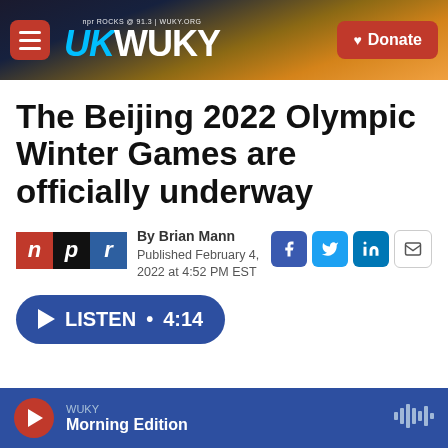WUKY — NPR ROCKS @ 91.3 | WUKY.ORG — Donate
The Beijing 2022 Olympic Winter Games are officially underway
By Brian Mann
Published February 4, 2022 at 4:52 PM EST
LISTEN • 4:14
WUKY Morning Edition